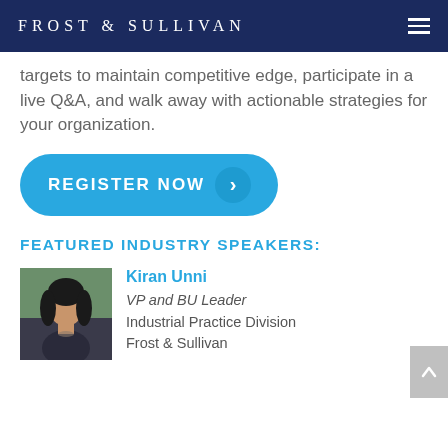FROST & SULLIVAN
targets to maintain competitive edge, participate in a live Q&A, and walk away with actionable strategies for your organization.
[Figure (other): Blue rounded button with text REGISTER NOW and a right-arrow chevron]
FEATURED INDUSTRY SPEAKERS:
[Figure (photo): Headshot photo of Kiran Unni, a woman with dark hair]
Kiran Unni
VP and BU Leader
Industrial Practice Division
Frost & Sullivan